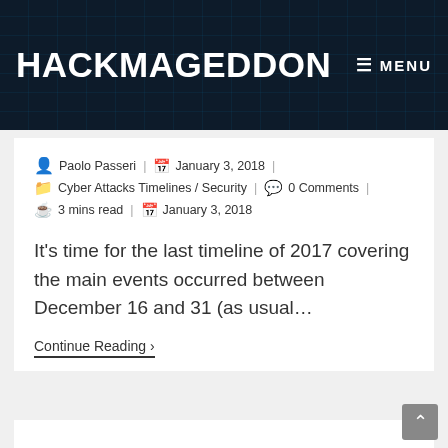HACKMAGEDDON | MENU
Paolo Passeri | January 3, 2018 | Cyber Attacks Timelines / Security | 0 Comments | 3 mins read | January 3, 2018
It's time for the last timeline of 2017 covering the main events occurred between December 16 and 31 (as usual…
Continue Reading ›